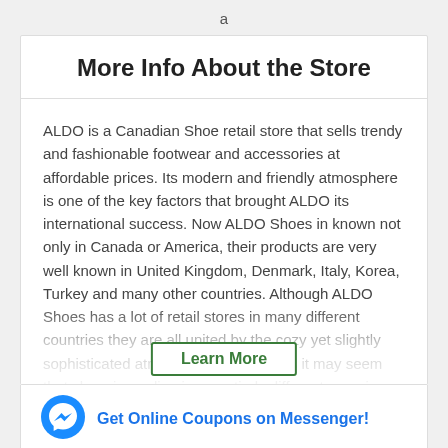a
More Info About the Store
ALDO is a Canadian Shoe retail store that sells trendy and fashionable footwear and accessories at affordable prices. Its modern and friendly atmosphere is one of the key factors that brought ALDO its international success. Now ALDO Shoes in known not only in Canada or America, their products are very well known in United Kingdom, Denmark, Italy, Korea, Turkey and many other countries. Although ALDO Shoes has a lot of retail stores in many different countries they are all united by the cozy yet slightly sophisticated atmosphere. Sometimes it may seem that shopping online is an entirely different experience however ALDO managed to bring the atmosphere of a retail store to
Learn More
Get Online Coupons on Messenger!